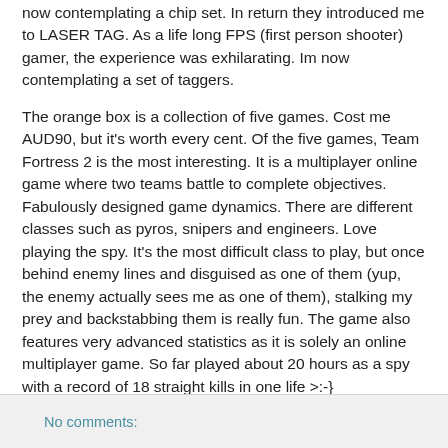now contemplating a chip set. In return they introduced me to LASER TAG. As a life long FPS (first person shooter) gamer, the experience was exhilarating. Im now contemplating a set of taggers.
The orange box is a collection of five games. Cost me AUD90, but it's worth every cent. Of the five games, Team Fortress 2 is the most interesting. It is a multiplayer online game where two teams battle to complete objectives. Fabulously designed game dynamics. There are different classes such as pyros, snipers and engineers. Love playing the spy. It's the most difficult class to play, but once behind enemy lines and disguised as one of them (yup, the enemy actually sees me as one of them), stalking my prey and backstabbing them is really fun. The game also features very advanced statistics as it is solely an online multiplayer game. So far played about 20 hours as a spy with a record of 18 straight kills in one life >:-}
No comments: